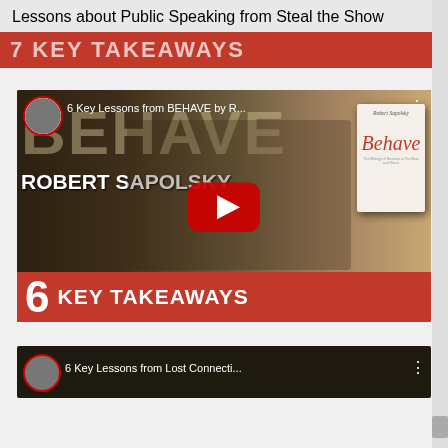Lessons about Public Speaking from Steal the Show
[Figure (screenshot): YouTube video thumbnail for '6 Key Lessons from BEHAVE by R...' showing a man holding the book Behave by Robert Sapolsky, with large text BEHAVE and ROBERT SAPOLSKY and a red bottom bar reading 6 KEY TAKEAWAYS]
[Figure (screenshot): Partially visible YouTube video thumbnail for '6 Key Lessons from Lost Connecti...']